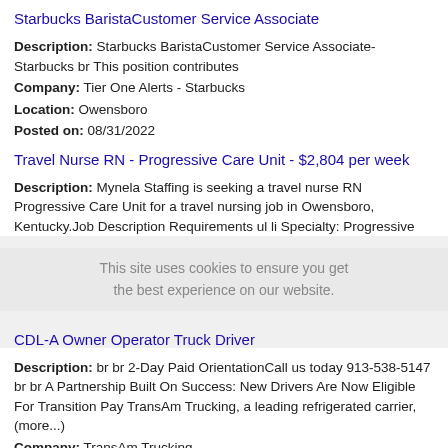Starbucks BaristaCustomer Service Associate
Description: Starbucks BaristaCustomer Service Associate-Starbucks br This position contributes
Company: Tier One Alerts - Starbucks
Location: Owensboro
Posted on: 08/31/2022
Travel Nurse RN - Progressive Care Unit - $2,804 per week
Description: Mynela Staffing is seeking a travel nurse RN Progressive Care Unit for a travel nursing job in Owensboro, Kentucky.Job Description Requirements ul li Specialty: Progressive Care Unit li Discipline: (more...)
Company: Mynela Staffing
Location: Owensboro
Posted on: 08/31/2022
CDL-A Owner Operator Truck Driver
Description: br br 2-Day Paid OrientationCall us today 913-538-5147 br br A Partnership Built On Success: New Drivers Are Now Eligible For Transition Pay TransAm Trucking, a leading refrigerated carrier, (more...)
Company: TransAm Trucking
Location: Owensboro